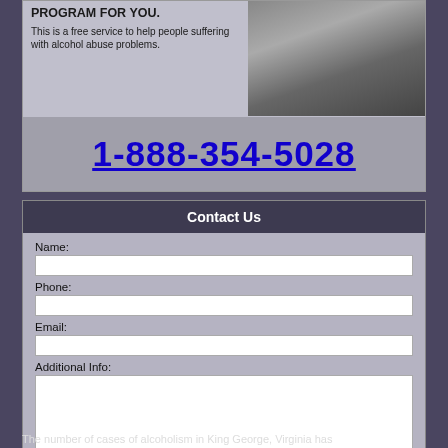[Figure (screenshot): Top banner with text 'PROGRAM FOR YOU.' and subtitle 'This is a free service to help people suffering with alcohol abuse problems.' A person in a suit is shown on the right side. Below is a phone number bar.]
1-888-354-5028
Contact Us
Name:
Phone:
Email:
Additional Info:
Get Help Now
The number of cases of alcoholism in King George, Virginia has